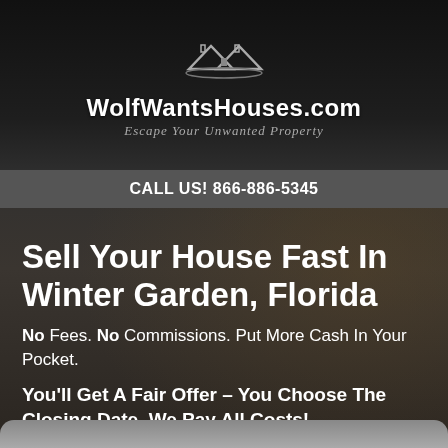[Figure (logo): WolfWantsHouses.com logo with house/rooftop icon above the text and tagline 'Escape Your Unwanted Property']
CALL US! 866-886-5345
Sell Your House Fast In Winter Garden, Florida
No Fees. No Commissions. Put More Cash In Your Pocket.
You'll Get A Fair Offer – You Choose The Closing Date. We Pay All Costs!
Fill out the short form…